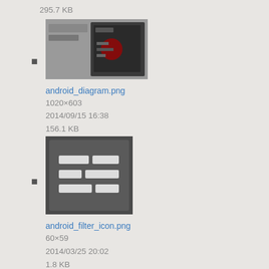295.7 KB
[Figure (screenshot): Thumbnail of android_diagram.png showing a dark Android UI screenshot]
android_diagram.png
1020×603
2014/09/15 16:38
156.1 KB
[Figure (screenshot): Thumbnail of android_filter_icon.png showing a dark icon with horizontal bars/sliders]
android_filter_icon.png
60×59
2014/03/25 20:02
1.8 KB
[Figure (screenshot): Thumbnail of android_filtering.png showing an Android settings/filter screen]
android_filtering.png